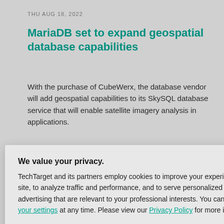THU AUG 18, 2022
MariaDB set to expand geospatial database capabilities
With the purchase of CubeWerx, the database vendor will add geospatial capabilities to its SkySQL database service that will enable satellite imagery analysis in applications.
EMENT
ting A-level
as been an posing to take A- have dropped
We value your privacy.
TechTarget and its partners employ cookies to improve your experience on our site, to analyze traffic and performance, and to serve personalized content and advertising that are relevant to your professional interests. You can manage your settings at any time. Please view our Privacy Policy for more information